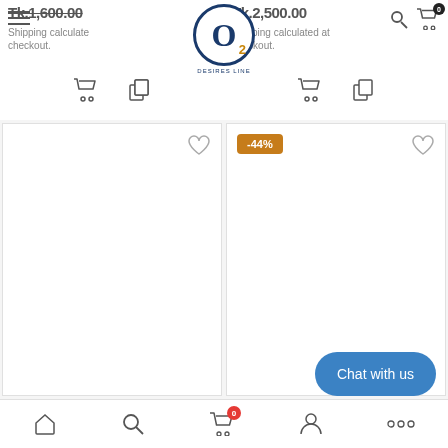[Figure (screenshot): E-commerce product listing page showing two product cards at top with prices Tk.1,600.00 and Tk.2,500.00, shipping info, cart icons, and logo overlay. Two more product cards below, one with -44% discount badge. Chat with us button and bottom navigation bar.]